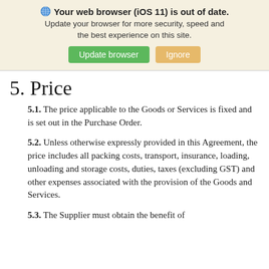[Figure (screenshot): Browser warning banner with globe icon, bold title 'Your web browser (iOS 11) is out of date.', subtitle text 'Update your browser for more security, speed and the best experience on this site.', and two buttons: green 'Update browser' and tan 'Ignore']
5. Price
5.1. The price applicable to the Goods or Services is fixed and is set out in the Purchase Order.
5.2. Unless otherwise expressly provided in this Agreement, the price includes all packing costs, transport, insurance, loading, unloading and storage costs, duties, taxes (excluding GST) and other expenses associated with the provision of the Goods and Services.
5.3. The Supplier must obtain the benefit of